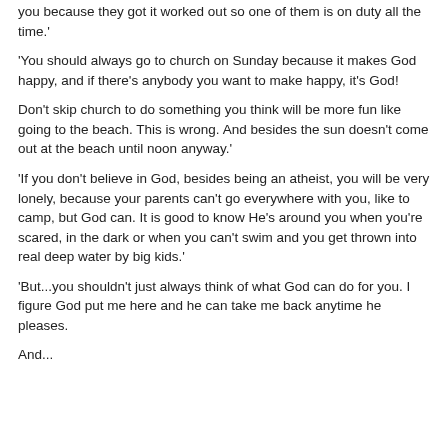you because they got it worked out so one of them is on duty all the time.'
'You should always go to church on Sunday because it makes God happy, and if there's anybody you want to make happy, it's God!
Don't skip church to do something you think will be more fun like going to the beach. This is wrong. And besides the sun doesn't come out at the beach until noon anyway.'
'If you don't believe in God, besides being an atheist, you will be very lonely, because your parents can't go everywhere with you, like to camp, but God can. It is good to know He's around you when you're scared, in the dark or when you can't swim and you get thrown into real deep water by big kids.'
'But...you shouldn't just always think of what God can do for you. I figure God put me here and he can take me back anytime he pleases.
And...